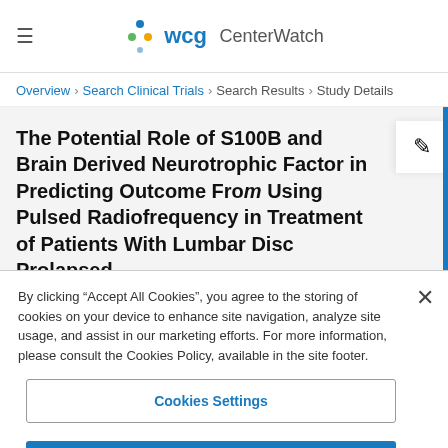WCG CenterWatch
Overview > Search Clinical Trials > Search Results > Study Details
The Potential Role of S100B and Brain Derived Neurotrophic Factor in Predicting Outcome From Using Pulsed Radiofrequency in Treatment of Patients With Lumbar Disc Prolapsed
By clicking “Accept All Cookies”, you agree to the storing of cookies on your device to enhance site navigation, analyze site usage, and assist in our marketing efforts. For more information, please consult the Cookies Policy, available in the site footer.
Cookies Settings
Reject All
Accept All Cookies